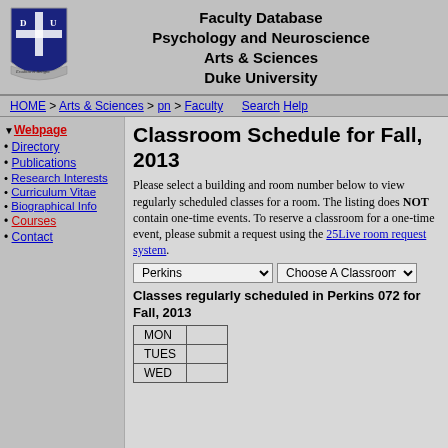Faculty Database
Psychology and Neuroscience
Arts & Sciences
Duke University
[Figure (logo): Duke University shield crest logo, blue and white, gothic style]
HOME > Arts & Sciences > pn > Faculty   Search Help
▼ Webpage
• Directory
• Publications
• Research Interests
• Curriculum Vitae
• Biographical Info
• Courses
• Contact
Classroom Schedule for Fall, 2013
Please select a building and room number below to view regularly scheduled classes for a room. The listing does NOT contain one-time events. To reserve a classroom for a one-time event, please submit a request using the 25Live room request system.
Perkins [dropdown]   Choose A Classroom [dropdown]
Classes regularly scheduled in Perkins 072 for Fall, 2013
| Day |  |
| --- | --- |
| MON |  |
| TUES |  |
| WED |  |